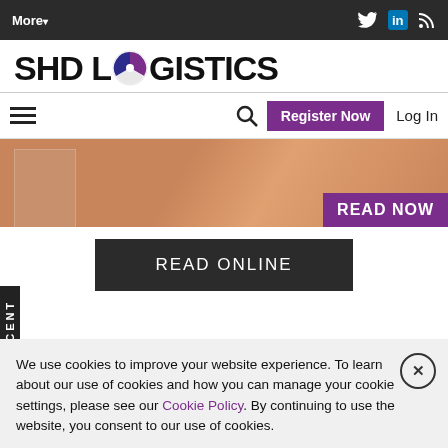More ▾ [Twitter] [LinkedIn] [RSS]
[Figure (logo): SHD Logistics logo with a circular icon replacing the letter O in LOGISTICS]
≡  🔍  Register Now  Log In
[Figure (photo): Partial warehouse/logistics photo with a purple READ NOW badge overlay]
READ ONLINE
ECENT
We use cookies to improve your website experience. To learn about our use of cookies and how you can manage your cookie settings, please see our Cookie Policy. By continuing to use the website, you consent to our use of cookies.